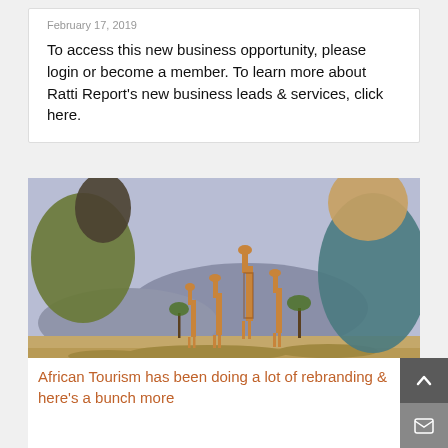February 17, 2019
To access this new business opportunity, please login or become a member. To learn more about Ratti Report's new business leads & services, click here.
[Figure (screenshot): Video player showing safari scene with multiple giraffes and two people (blurred foreground) watching, with a red progress bar at 1:01/1:30 and video controls.]
African Tourism has been doing a lot of rebranding & here's a bunch more